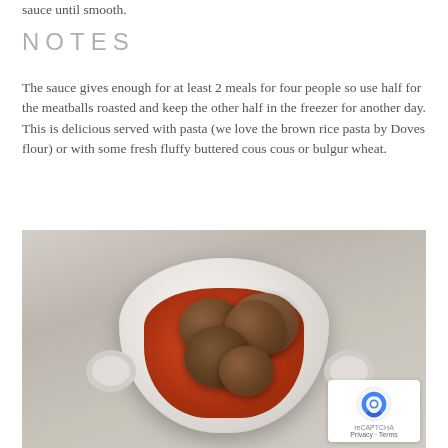sauce until smooth.
NOTES
The sauce gives enough for at least 2 meals for four people so use half for the meatballs roasted and keep the other half in the freezer for another day.
This is delicious served with pasta (we love the brown rice pasta by Doves flour) or with some fresh fluffy buttered cous cous or bulgur wheat.
[Figure (photo): A white ceramic casserole dish with handles containing meatballs in tomato sauce, photographed from above on a pale wooden surface. A reCAPTCHA badge is visible in the lower right corner.]